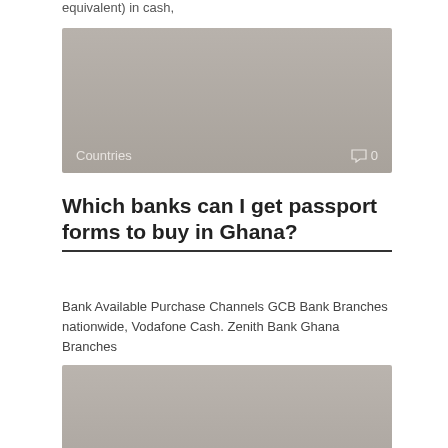equivalent) in cash,
[Figure (photo): Gray placeholder image with 'Countries' label and comment icon showing 0 comments]
Which banks can I get passport forms to buy in Ghana?
Bank Available Purchase Channels GCB Bank Branches nationwide, Vodafone Cash. Zenith Bank Ghana Branches
[Figure (photo): Gray placeholder image with 'Countries' label and comment icon showing 0 comments]